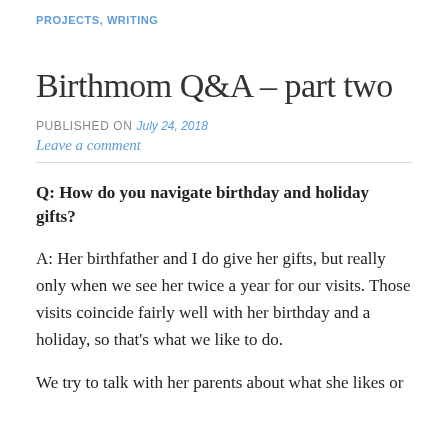PROJECTS, WRITING
Birthmom Q&A – part two
PUBLISHED ON July 24, 2018
Leave a comment
Q: How do you navigate birthday and holiday gifts?
A: Her birthfather and I do give her gifts, but really only when we see her twice a year for our visits. Those visits coincide fairly well with her birthday and a holiday, so that's what we like to do.
We try to talk with her parents about what she likes or